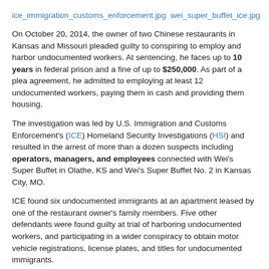ice_immigration_customs_enforcement.jpg wei_super_buffet_ice.jpg
On October 20, 2014, the owner of two Chinese restaurants in Kansas and Missouri pleaded guilty to conspiring to employ and harbor undocumented workers. At sentencing, he faces up to 10 years in federal prison and a fine of up to $250,000. As part of a plea agreement, he admitted to employing at least 12 undocumented workers, paying them in cash and providing them housing.
The investigation was led by U.S. Immigration and Customs Enforcement's (ICE) Homeland Security Investigations (HSI) and resulted in the arrest of more than a dozen suspects including operators, managers, and employees connected with Wei's Super Buffet in Olathe, KS and Wei's Super Buffet No. 2 in Kansas City, MO.
ICE found six undocumented immigrants at an apartment leased by one of the restaurant owner's family members. Five other defendants were found guilty at trial of harboring undocumented workers, and participating in a wider conspiracy to obtain motor vehicle registrations, license plates, and titles for undocumented immigrants.
Hiring of unauthorized workers is a violation of the Immigration and Nationality Act (INA § 274A), which involves the failure of an employer to verify the employment eligibility of any person hired after November 6, 1986, by using the Form I-9.
A copy of the press release from ICE can be found here.
United States v. Wei Liu, et al., No. 13-20114-KHV (D. Kan.)
Tags: None